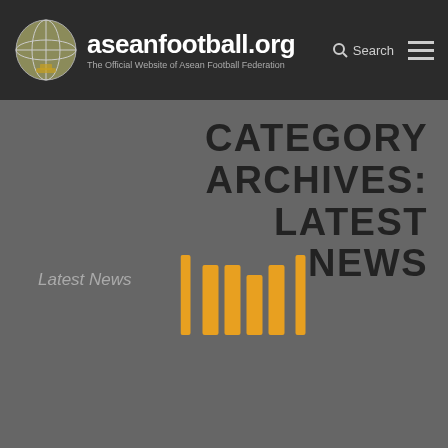aseanfootball.org — The Official Website of Asean Football Federation
CATEGORY ARCHIVES: LATEST NEWS
Latest News
[Figure (other): Loading spinner graphic — vertical bar animation icon in orange/amber color]